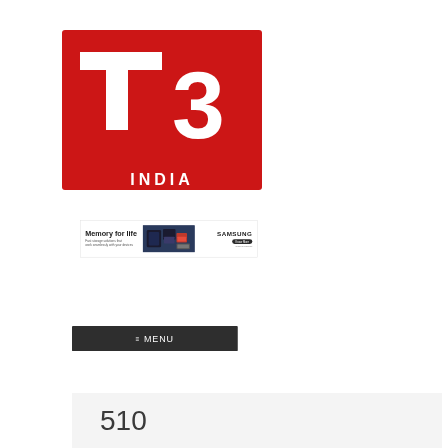[Figure (logo): T3 India magazine logo — red square with white bold T and 3 numerals, with 'INDIA' text and two horizontal red bars at the bottom]
[Figure (infographic): Samsung advertisement banner: 'Memory for life — Fast storage solutions that work seamlessly with your devices' with Samsung storage product images and a 'Know More' button]
≡  MENU
510